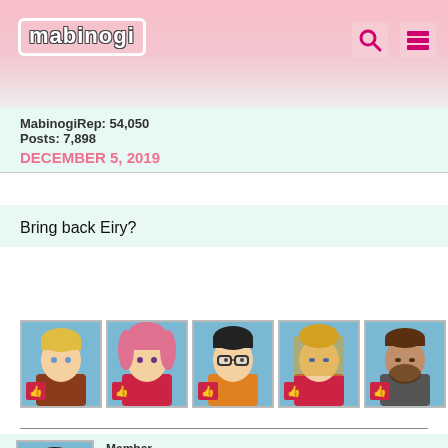Mabinogi
MabinogiRep: 54,050
Posts: 7,898
DECEMBER 5, 2019
Bring back Eiry?
[Figure (illustration): Row of 8 anime-style character avatar thumbnails with light blue backgrounds]
Member
Iyasenu